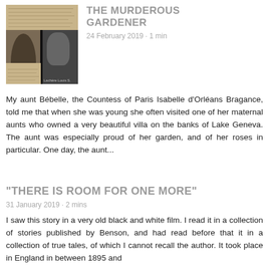[Figure (photo): Historical mugshot/police photograph composite showing a man from front and side, alongside handwritten document pages, sepia toned.]
THE MURDEROUS GARDENER
24 February 2019 · 1 min
My aunt Bébelle, the Countess of Paris Isabelle d'Orléans Bragance, told me that when she was young she often visited one of her maternal aunts who owned a very beautiful villa on the banks of Lake Geneva. The aunt was especially proud of her garden, and of her roses in particular. One day, the aunt...
“THERE IS ROOM FOR ONE MORE”
31 January 2019 · 2 mins
I saw this story in a very old black and white film. I read it in a collection of stories published by Benson, and had read before that it in a collection of true tales, of which I cannot recall the author. It took place in England in between 1895 and